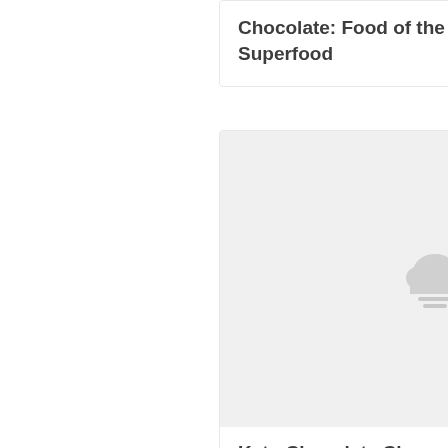Chocolate: Food of the Gods & High-Fat Superfood
[Figure (photo): Placeholder image with cloud/loading icon for Keto Chocolate Cheesecake Jars article]
Keto Chocolate Cheesecake Jars
[Figure (photo): Partially visible placeholder image for a third article card]